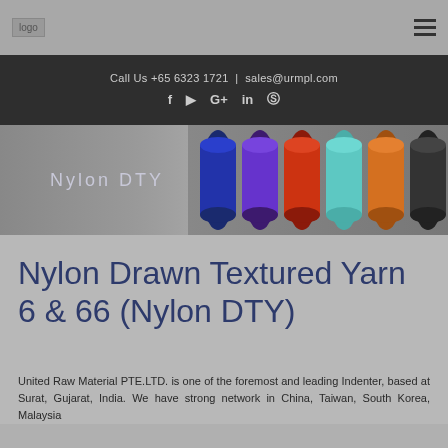[Figure (logo): Company logo placeholder in top left of header]
Call Us +65 6323 1721 | sales@urmpl.com
[Figure (infographic): Social media icons: Facebook, YouTube, Google+, LinkedIn, Skype]
[Figure (photo): Banner image showing colorful nylon yarn spools with text 'Nylon DTY']
Nylon Drawn Textured Yarn 6 & 66 (Nylon DTY)
United Raw Material PTE.LTD. is one of the foremost and leading Indenter, based at Surat, Gujarat, India. We have strong network in China, Taiwan, South Korea, Malaysia